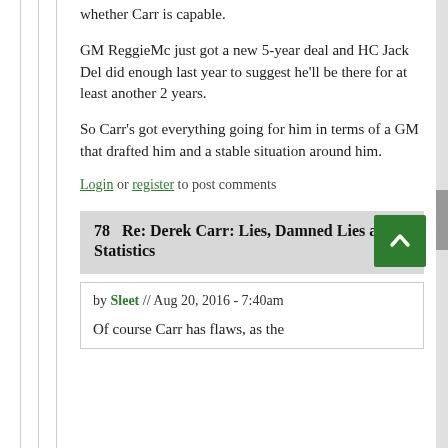whether Carr is capable.
GM ReggieMc just got a new 5-year deal and HC Jack Del did enough last year to suggest he'll be there for at least another 2 years.
So Carr's got everything going for him in terms of a GM that drafted him and a stable situation around him.
Log in or register to post comments
78   Re: Derek Carr: Lies, Damned Lies and Statistics
by Sleet // Aug 20, 2016 - 7:40am
Of course Carr has flaws, as the